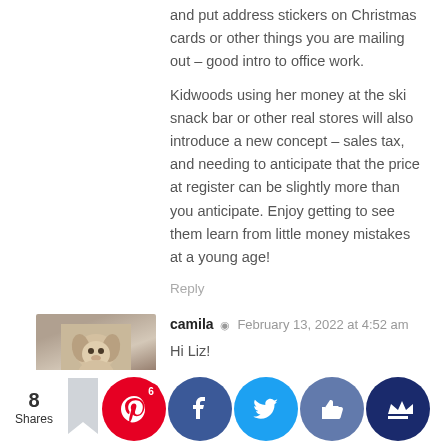and put address stickers on Christmas cards or other things you are mailing out – good intro to office work.
Kidwoods using her money at the ski snack bar or other real stores will also introduce a new concept – sales tax, and needing to anticipate that the price at register can be slightly more than you anticipate. Enjoy getting to see them learn from little money mistakes at a young age!
Reply
camila · February 13, 2022 at 4:52 am
Hi Liz!
I have a 8 year old that is not introduced to money yet, so your post came just in time. Thanks! Also, what are the best cities in Vermont for community building? Thinking of moving to north but i'm afraid to end up isolated and alone. I also have 2 girls that love the outside, and rural setting, but also like having lots of friends
Reply
8 Shares
March at 4:4... Parenting is... thing a... now on... of 4, gi...